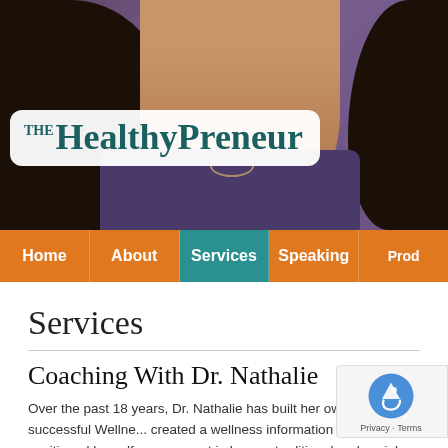[Figure (photo): Website header showing a woman with dark hair wearing a purple shirt, with 'THE HealthyPreneur' logo on a white rounded rectangle overlay in the top-left area.]
THE HealthyPreneur
[Figure (screenshot): Navigation bar with orange buttons: Home, About, Services (active/teal), Speaking, Prod...]
Services
Coaching With Dr. Nathalie
Over the past 18 years, Dr. Nathalie has built her own extremely successful Wellne... created a wellness information product and positioned herself as an expert in her c... traditional and social media. Her accomplishments even include creating one of the... events in Ottawa with hundreds of participating companies and thous...
Now, Dr. Nathalie wants to share her expertise with you to help you g... knowledge and experience in the Health and Wellness Industry, along with a keen...